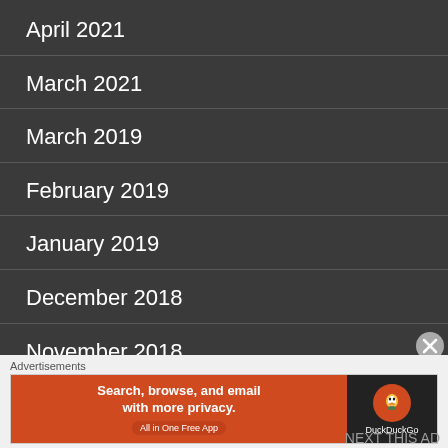April 2021
March 2021
March 2019
February 2019
January 2019
December 2018
November 2018
September 2018
Advertisements
[Figure (other): DuckDuckGo advertisement banner: 'Search, browse, and email with more privacy. All in One Free App' with DuckDuckGo logo on dark background]